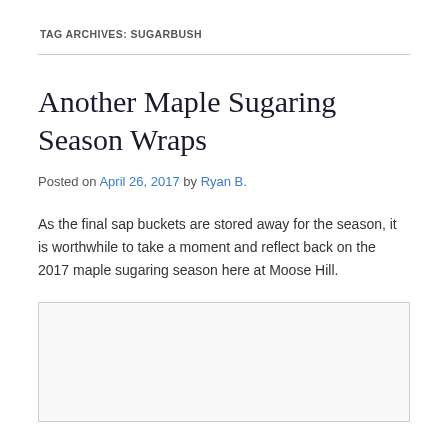TAG ARCHIVES: SUGARBUSH
Another Maple Sugaring Season Wraps
Posted on April 26, 2017 by Ryan B.
As the final sap buckets are stored away for the season, it is worthwhile to take a moment and reflect back on the 2017 maple sugaring season here at Moose Hill.
[Figure (photo): Image placeholder box at the bottom of the page]